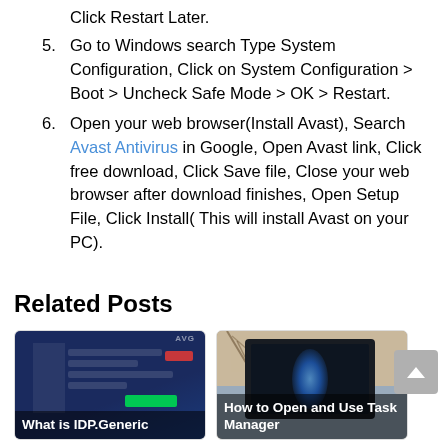Click Restart Later.
5. Go to Windows search Type System Configuration, Click on System Configuration > Boot > Uncheck Safe Mode > OK > Restart.
6. Open your web browser(Install Avast), Search Avast Antivirus in Google, Open Avast link, Click free download, Click Save file, Close your web browser after download finishes, Open Setup File, Click Install( This will install Avast on your PC).
Related Posts
[Figure (screenshot): Screenshot of Avast antivirus software interface on a dark blue background with green install button. Caption: What is IDP.Generic]
[Figure (photo): Photo of a laptop screen showing a glowing blue light, outdoors. Caption: How to Open and Use Task Manager]